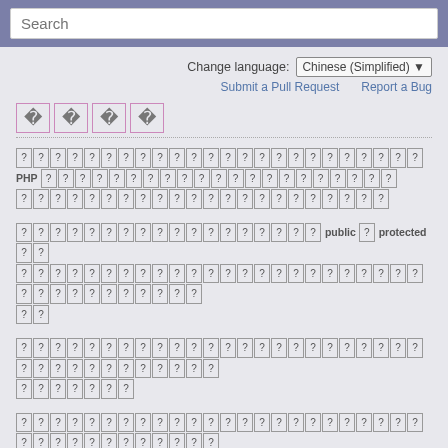Search
Change language: Chinese (Simplified) ▾  Submit a Pull Request  Report a Bug
？ ？ ？ ？ (Chinese characters shown as replacement glyphs)
... PHP ... (paragraph with PHP keyword and Chinese replacement glyphs)
... public ？ protected ？？ ... (paragraph with public/protected keywords and Chinese replacement glyphs)
(paragraph of Chinese replacement glyphs)
(paragraph of Chinese replacement glyphs, partial)